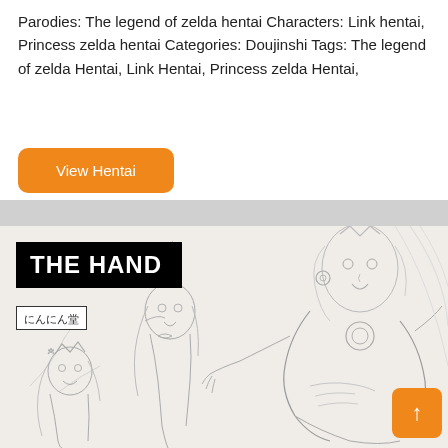Parodies: The legend of zelda hentai Characters: Link hentai, Princess zelda hentai Categories: Doujinshi Tags: The legend of zelda Hentai, Link Hentai, Princess zelda Hentai,
[Figure (illustration): Orange rounded-rectangle button labeled 'View Hentai']
[Figure (illustration): Manga/doujinshi cover illustration titled 'THE HAND' with Japanese subtitle text in a box (にんにん堂). Line-art drawing of anime-style characters (Princess Rosalina and others) in dynamic poses. An orange scroll-to-top button is in the bottom-right corner.]